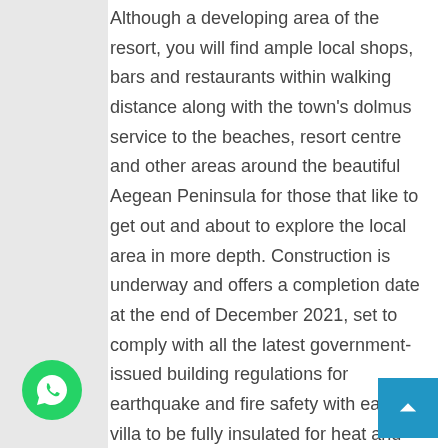Although a developing area of the resort, you will find ample local shops, bars and restaurants within walking distance along with the town's dolmus service to the beaches, resort centre and other areas around the beautiful Aegean Peninsula for those that like to get out and about to explore the local area in more depth. Construction is underway and offers a completion date at the end of December 2021, set to comply with all the latest government-issued building regulations for earthquake and fire safety with each villa to be fully insulated for heat and sound to both walls and floors. The 50 apartments will be set in a walled gated environment, 2 individual modern blocks to be surrounded by vast landscaped gardens that will offer the children a play area, Turkish Bath &